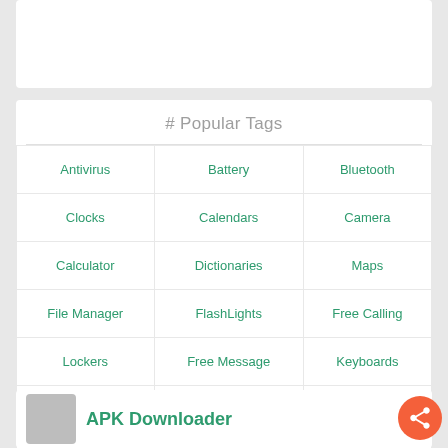[Figure (screenshot): White card placeholder at the top]
# Popular Tags
| Antivirus | Battery | Bluetooth |
| Clocks | Calendars | Camera |
| Calculator | Dictionaries | Maps |
| File Manager | FlashLights | Free Calling |
| Lockers | Free Message | Keyboards |
| Multimedia | Notes | Tools |
| Browsers | Notification | Wi-Fi |
APK Downloader